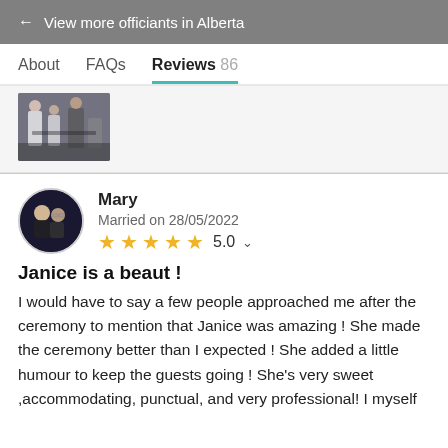← View more officiants in Alberta
About   FAQs   Reviews 86
[Figure (photo): A photo thumbnail showing people at what appears to be a wedding ceremony]
Mary
Married on 28/05/2022
★★★★★ 5.0
Janice is a beaut !
I would have to say a few people approached me after the ceremony to mention that Janice was amazing ! She made the ceremony better than I expected ! She added a little humour to keep the guests going ! She's very sweet ,accommodating, punctual, and very professional! I myself